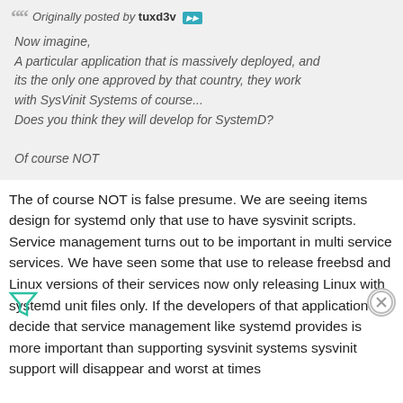Originally posted by tuxd3v [nav arrow] Now imagine, A particular application that is massively deployed, and its the only one approved by that country, they work with SysVinit Systems of course... Does you think they will develop for SystemD? Of course NOT
The of course NOT is false presume. We are seeing items design for systemd only that use to have sysvinit scripts. Service management turns out to be important in multi service services. We have seen some that use to release freebsd and Linux versions of their services now only releasing Linux with systemd unit files only. If the developers of that application decide that service management like systemd provides is more important than supporting sysvinit systems sysvinit support will disappear and worst at times